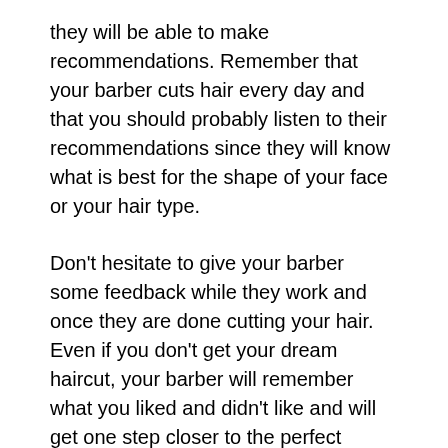they will be able to make recommendations. Remember that your barber cuts hair every day and that you should probably listen to their recommendations since they will know what is best for the shape of your face or your hair type.
Don't hesitate to give your barber some feedback while they work and once they are done cutting your hair. Even if you don't get your dream haircut, your barber will remember what you liked and didn't like and will get one step closer to the perfect haircut the next time you book an appointment!